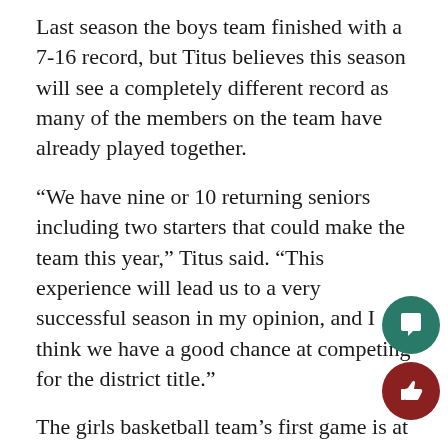Last season the boys team finished with a 7-16 record, but Titus believes this season will see a completely different record as many of the members on the team have already played together.
“We have nine or 10 returning seniors including two starters that could make the team this year,” Titus said. “This experience will lead us to a very successful season in my opinion, and I think we have a good chance at competing for the district title.”
The girls basketball team’s first game is at home against McLean on Dec. 21, and Morgan is excited for another season of playing basketball with her friends.
“I look forward to actually getting back on the cou… and playing games,” Morgan said. “I also look forwa… to seeing all my teammates again because we all … along really well and it’s really fun playing with the…